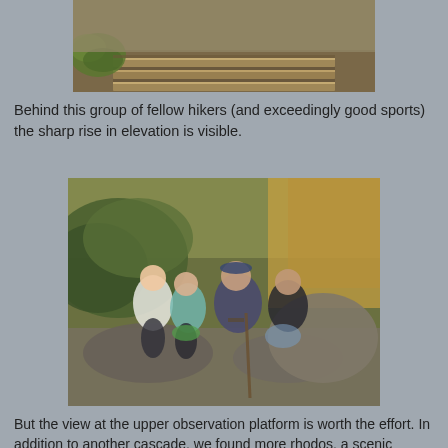[Figure (photo): Photo of wooden steps/stairs on a hiking trail showing a steep elevation rise, with green plants visible on the left side]
Behind this group of fellow hikers (and exceedingly good sports) the sharp rise in elevation is visible.
[Figure (photo): Photo of four hikers (three women and one man) posing on a rocky trail surrounded by rhododendron and forest vegetation]
But the view at the upper observation platform is worth the effort. In addition to another cascade, we found more rhodos, a scenic bridge, and "potholes" carved into the rock by water.